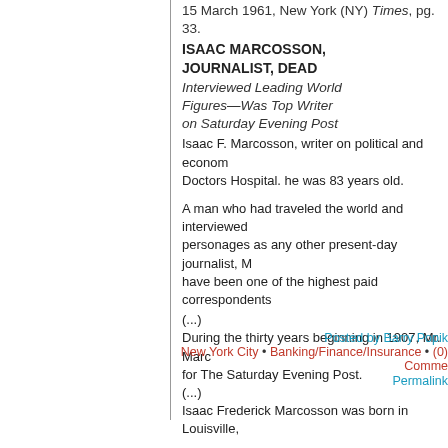15 March 1961, New York (NY) Times, pg. 33.
ISAAC MARCOSSON,
JOURNALIST, DEAD
Interviewed Leading World Figures—Was Top Writer on Saturday Evening Post
Isaac F. Marcosson, writer on political and econom... Doctors Hospital. he was 83 years old.
A man who had traveled the world and interviewed... personages as any other present-day journalist, M... have been one of the highest paid correspondents...
(...)
During the thirty years beginning in 1907, Mr. Marc... for The Saturday Evening Post.
(...)
Isaac Frederick Marcosson was born in Louisville,...
Posted by Barry Popik
New York City • Banking/Finance/Insurance • (0) Comme... Permalink